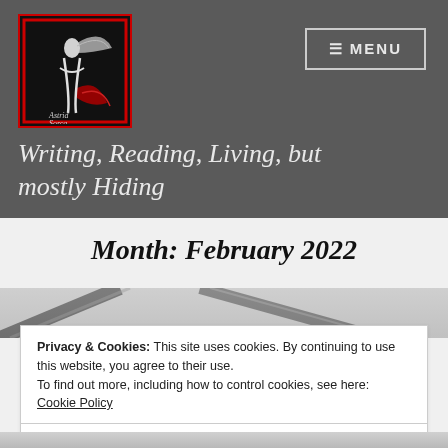[Figure (logo): Astrid Sorca blog logo — black background with red border, white illustrated figure and decorative red flourish, text 'Astrid Sorca' in script]
≡ MENU
Writing, Reading, Living, but mostly Hiding
Month: February 2022
Privacy & Cookies: This site uses cookies. By continuing to use this website, you agree to their use.
To find out more, including how to control cookies, see here: Cookie Policy
Close and accept